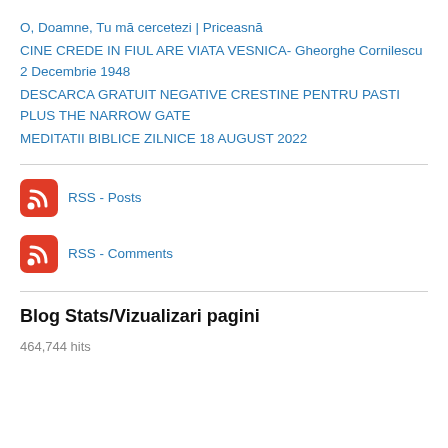O, Doamne, Tu mă cercetezi | Priceasnă
CINE CREDE IN FIUL ARE VIATA VESNICA- Gheorghe Cornilescu 2 Decembrie 1948
DESCARCA GRATUIT NEGATIVE CRESTINE PENTRU PASTI PLUS THE NARROW GATE
MEDITATII BIBLICE ZILNICE 18 AUGUST 2022
[Figure (logo): RSS feed icon - red rounded square with white RSS signal symbol]
RSS - Posts
[Figure (logo): RSS feed icon - red rounded square with white RSS signal symbol]
RSS - Comments
Blog Stats/Vizualizari pagini
464,744 hits